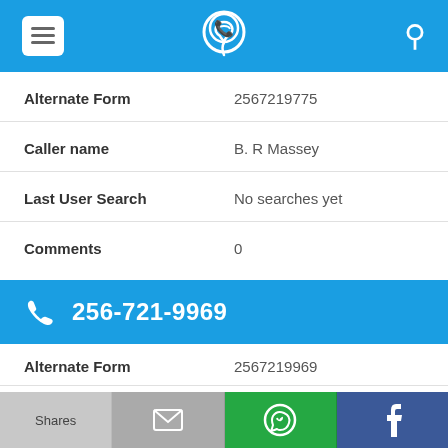[Figure (screenshot): Top navigation bar with menu icon, phone/location logo, and search icon on blue background]
| Alternate Form | 2567219775 |
| Caller name | B. R Massey |
| Last User Search | No searches yet |
| Comments | 0 |
256-721-9969
| Alternate Form | 2567219969 |
| Caller name | Raymond Slonena, Jr |
[Figure (screenshot): Bottom share bar with Shares, email, WhatsApp, and Facebook tiles]